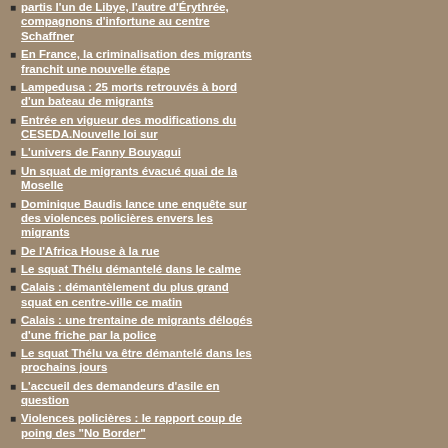partis l'un de Libye, l'autre d'Érythrée, compagnons d'infortune au centre Schaffner
En France, la criminalisation des migrants franchit une nouvelle étape
Lampedusa : 25 morts retrouvés à bord d'un bateau de migrants
Entrée en vigueur des modifications du CESEDA.Nouvelle loi sur
L'univers de Fanny Bouyagui
Un squat de migrants évacué quai de la Moselle
Dominique Baudis lance une enquête sur des violences policières envers les migrants
De l'Africa House à la rue
Le squat Thélu démantelé dans le calme
Calais : démantèlement du plus grand squat en centre-ville ce matin
Calais : une trentaine de migrants délogés d'une friche par la police
Le squat Thélu va être démantelé dans les prochains jours
L'accueil des demandeurs d'asile en question
Violences policières : le rapport coup de poing des "No Border"